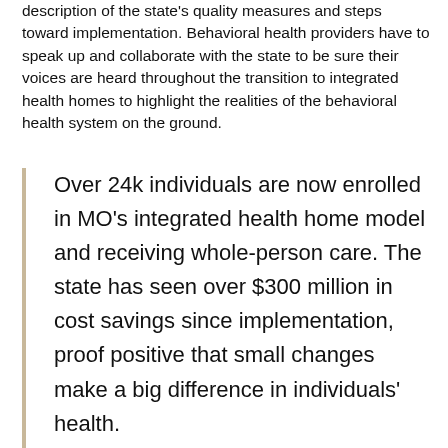description of the state's quality measures and steps toward implementation. Behavioral health providers have to speak up and collaborate with the state to be sure their voices are heard throughout the transition to integrated health homes to highlight the realities of the behavioral health system on the ground.
Over 24k individuals are now enrolled in MO's integrated health home model and receiving whole-person care. The state has seen over $300 million in cost savings since implementation, proof positive that small changes make a big difference in individuals' health.